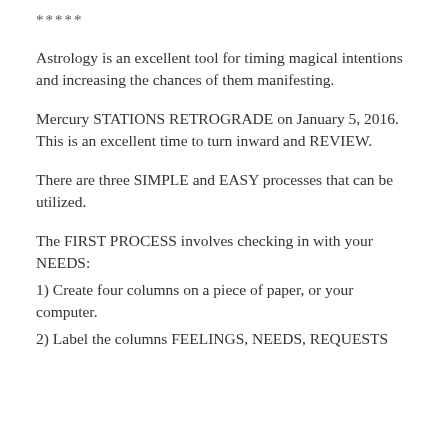*****
Astrology is an excellent tool for timing magical intentions and increasing the chances of them manifesting.
Mercury STATIONS RETROGRADE on January 5, 2016. This is an excellent time to turn inward and REVIEW.
There are three SIMPLE and EASY processes that can be utilized.
The FIRST PROCESS involves checking in with your NEEDS:
1) Create four columns on a piece of paper, or your computer.
2) Label the columns FEELINGS, NEEDS, REQUESTS